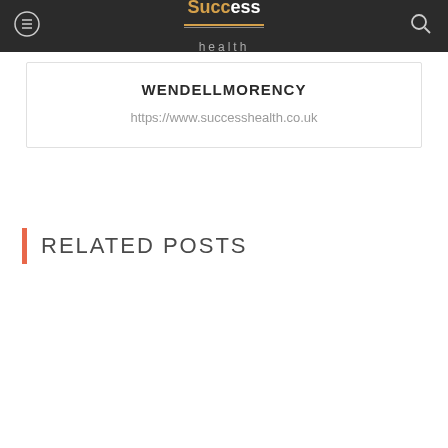Success Health - WENDELLMORENCY
WENDELLMORENCY
https://www.successhealth.co.uk
RELATED POSTS